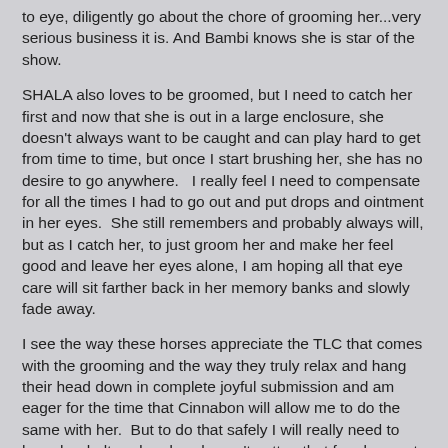to eye, diligently go about the chore of grooming her...very serious business it is.  And Bambi knows she is star of the show.
SHALA also loves to be groomed, but I need to catch her first and now that she is out in a large enclosure, she doesn't always want to be caught and can play hard to get from time to time, but once I start brushing her, she has no desire to go anywhere.   I really feel I need to compensate for all the times I had to go out and put drops and ointment in her eyes.  She still remembers and probably always will, but as I catch her, to just groom her and make her feel good and leave her eyes alone, I am hoping all that eye care will sit farther back in her memory banks and slowly fade away.
I see the way these horses appreciate the TLC that comes with the grooming and the way they truly relax and hang their head down in complete joyful submission and am eager for the time that Cinnabon will allow me to do the same with her.  But to do that safely I will really need to have her haltered and we haven't gotten that far along yet. I am still just getting her used to me being close and touching her -